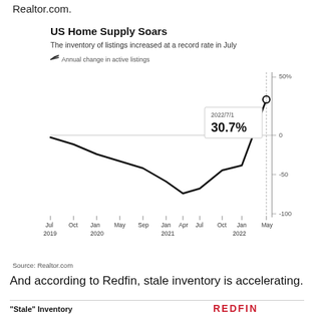Realtor.com.
[Figure (line-chart): Annual change in active listings from Jul 2019 to May 2022. The line starts near 0%, declines to about -50% around mid-2021, then rises sharply to 30.7% at 2022/7/1.]
Source: Realtor.com
And according to Redfin, stale inventory is accelerating.
[Figure (line-chart): As a percentage of total inventory; YoY change. Three lines: 14 days (teal), 30 days (red), 60 days (black). Shows 20% at the start of the visible portion at the bottom of the page.]